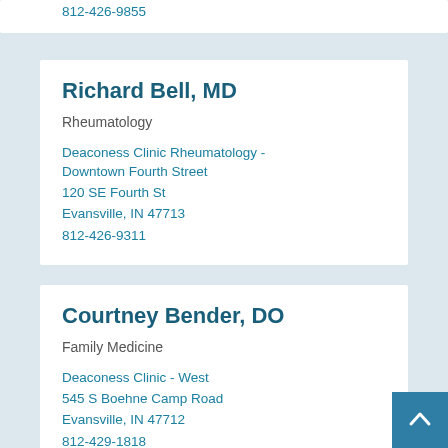812-426-9855
Richard Bell, MD
Rheumatology
Deaconess Clinic Rheumatology - Downtown Fourth Street
120 SE Fourth St
Evansville, IN 47713
812-426-9311
Courtney Bender, DO
Family Medicine
Deaconess Clinic - West
545 S Boehne Camp Road
Evansville, IN 47712
812-429-1818